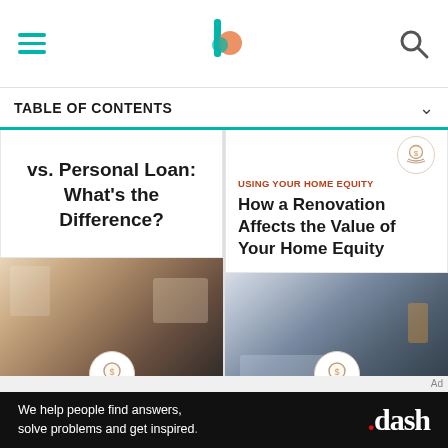[hamburger menu] [site logo] [search icon]
TABLE OF CONTENTS
vs. Personal Loan: What's the Difference?
[Figure (photo): Man in wheelchair working at a desk with a computer]
USING YOUR HOME EQUITY
USING YOUR HOME EQUITY
How a Renovation Affects the Value of Your Home Equity
[Figure (photo): Two people reviewing renovation plans on a table]
MORTGAGES & HOME LOANS
Ad
We help people find answers, solve problems and get inspired.
.dash